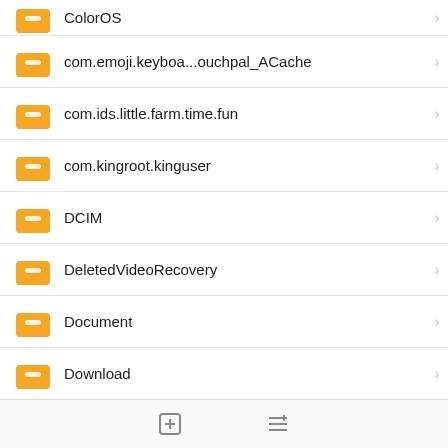[Figure (screenshot): Mobile file manager app screenshot showing a list of folders: ColorOS (partial), com.emoji.keyboa...ouchpal_ACache, com.ids.little.farm.time.fun, com.kingroot.kinguser, DCIM, DeletedVideoRecovery, Document, Download, GM_V2 (vGUA24)F 06-11-2021 (highlighted with red border), ispdbg, Kingroot (partial). Each row has an orange folder icon and a chevron arrow. Bottom navigation bar visible.]